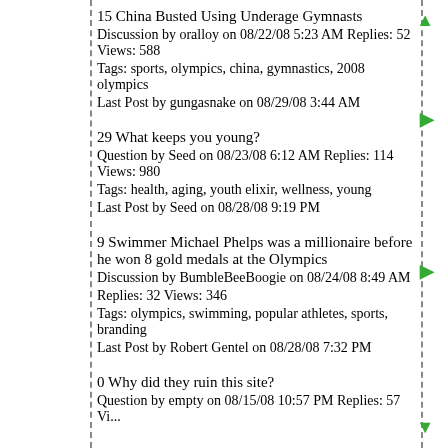15 China Busted Using Underage Gymnasts
Discussion by oralloy on 08/22/08 5:23 AM Replies: 52 Views: 588
Tags: sports, olympics, china, gymnastics, 2008 olympics
Last Post by gungasnake on 08/29/08 3:44 AM
29 What keeps you young?
Question by Seed on 08/23/08 6:12 AM Replies: 114 Views: 980
Tags: health, aging, youth elixir, wellness, young
Last Post by Seed on 08/28/08 9:19 PM
9 Swimmer Michael Phelps was a millionaire before he won 8 gold medals at the Olympics
Discussion by BumbleBeeBoogie on 08/24/08 8:49 AM Replies: 32 Views: 346
Tags: olympics, swimming, popular athletes, sports, branding
Last Post by Robert Gentel on 08/28/08 7:32 PM
0 Why did they ruin this site?
Question by empty on 08/15/08 10:57 PM Replies: 57 Vi...